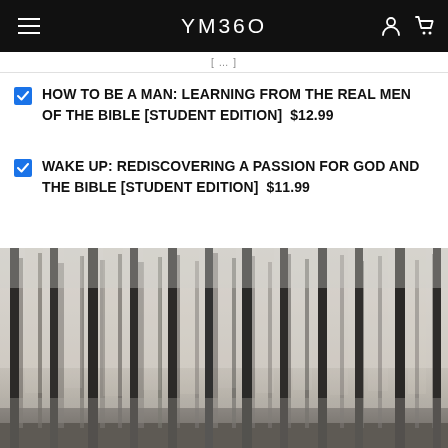YM360
HOW TO BE A MAN: LEARNING FROM THE REAL MEN OF THE BIBLE [STUDENT EDITION]  $12.99
WAKE UP: REDISCOVERING A PASSION FOR GOD AND THE BIBLE [STUDENT EDITION]  $11.99
[Figure (photo): Black and white photograph of a misty forest with tall pine trees]